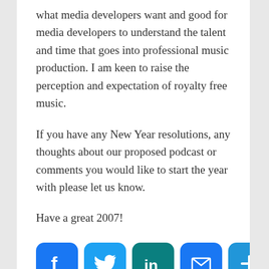what media developers want and good for media developers to understand the talent and time that goes into professional music production. I am keen to raise the perception and expectation of royalty free music.
If you have any New Year resolutions, any thoughts about our proposed podcast or comments you would like to start the year with please let us know.
Have a great 2007!
[Figure (infographic): Row of five social media share icons: Facebook (blue), Twitter (light blue), LinkedIn (teal), Email (blue), and a Plus/share button (blue).]